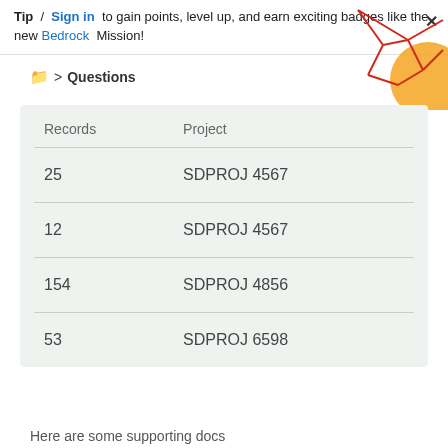Tip / Sign in to gain points, level up, and earn exciting badges like the new Bedrock Mission!
Questions
[Figure (illustration): Decorative graphic with red geometric lines and orange circle shape in top-right corner]
| Records | Project |
| --- | --- |
| 25 | SDPROJ 4567 |
| 12 | SDPROJ 4567 |
| 154 | SDPROJ 4856 |
| 53 | SDPROJ 6598 |
Here are some supporting docs